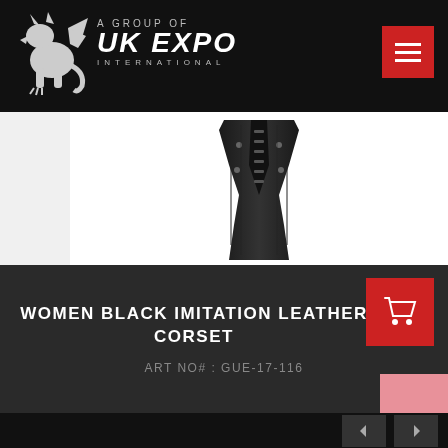[Figure (logo): UK Expo International logo with dragon/griffin icon. Text reads: A GROUP OF UK EXPO INTERNATIONAL]
[Figure (photo): Women black imitation leather corset product photo, showing a black structured waist corset with metal hardware and lacing]
WOMEN BLACK IMITATION LEATHER CORSET
ART NO# : GUE-17-116